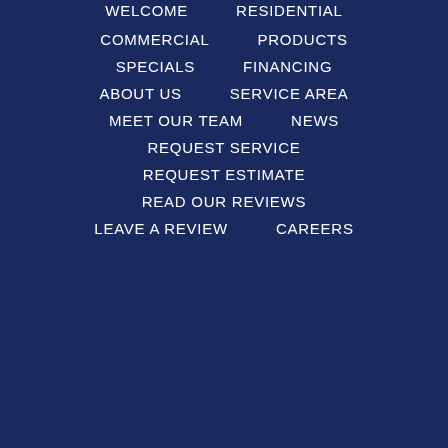WELCOME   RESIDENTIAL
COMMERCIAL   PRODUCTS
SPECIALS   FINANCING
ABOUT US   SERVICE AREA
MEET OUR TEAM   NEWS
REQUEST SERVICE
REQUEST ESTIMATE
READ OUR REVIEWS
LEAVE A REVIEW   CAREERS